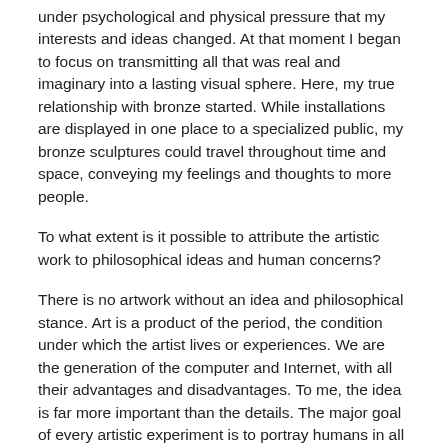under psychological and physical pressure that my interests and ideas changed. At that moment I began to focus on transmitting all that was real and imaginary into a lasting visual sphere. Here, my true relationship with bronze started. While installations are displayed in one place to a specialized public, my bronze sculptures could travel throughout time and space, conveying my feelings and thoughts to more people.
To what extent is it possible to attribute the artistic work to philosophical ideas and human concerns?
There is no artwork without an idea and philosophical stance. Art is a product of the period, the condition under which the artist lives or experiences. We are the generation of the computer and Internet, with all their advantages and disadvantages. To me, the idea is far more important than the details. The major goal of every artistic experiment is to portray humans in all their sadness and happiness, victory and defeat.